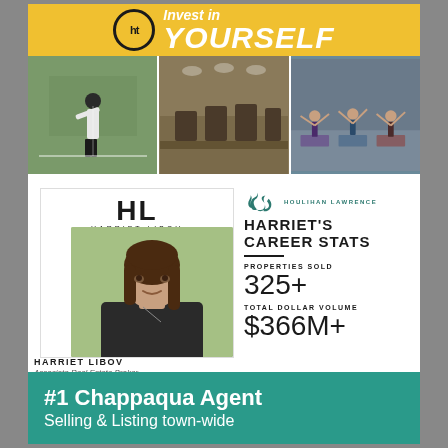[Figure (illustration): Yellow banner with HT logo circle and large white bold italic text 'YOURSELF' (with 'Invest in' partially visible above)]
[Figure (photo): Three side-by-side photos: person playing tennis outdoors, gym with exercise equipment, yoga class with participants]
[Figure (photo): Harriet Libov professional headshot with HL Harriet Libov logo overlay]
HARRIET LIBOV
Associate Real Estate Broker
M 914.659.6200  O 914.273.9505 Ext. 318
HLibov@houlihanlawrence.com
harrietlibov.houlihanlawrence.com
[Figure (logo): Houlihan Lawrence horse logo with text HOULIHAN LAWRENCE]
HARRIET'S CAREER STATS
PROPERTIES SOLD
325+
TOTAL DOLLAR VOLUME
$366M+
#1 Chappaqua Agent
Selling & Listing town-wide